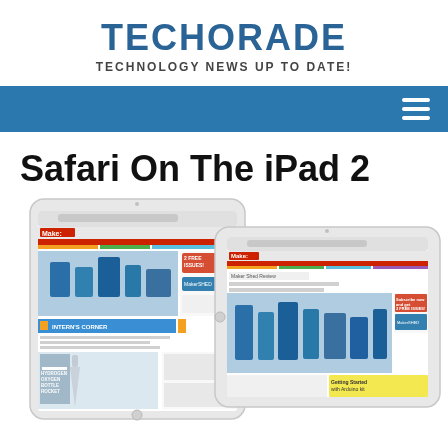TECHORADE
TECHNOLOGY NEWS UP TO DATE!
[Figure (other): Blue navigation bar with hamburger menu icon on the right]
Safari On The iPad 2
[Figure (screenshot): Two iPad 2 devices displaying the Make: magazine website in Safari browser. The left iPad is in portrait orientation and the right iPad is in landscape orientation, both showing the Make: website with blue robot imagery and various article sections.]